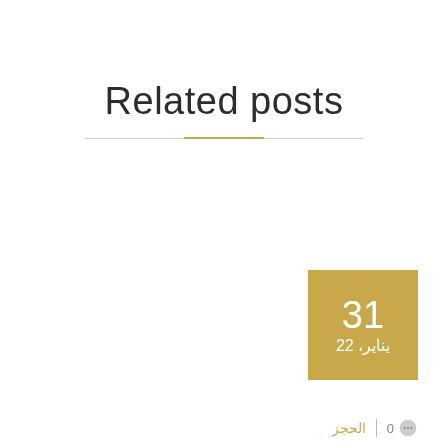Related posts
31
يناير، 22
الحجز | 0